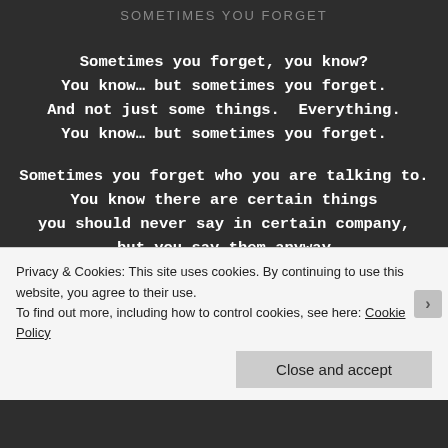SOMETIMES YOU FORGET
Sometimes you forget, you know?
You know… but sometimes you forget.
And not just some things.  Everything.
You know… but sometimes you forget.

Sometimes you forget who you are talking to.
You know there are certain things
you should never say in certain company,
but you say them anyway
because sometimes you forget.
You know… but sometimes you forget.

Sometimes you forget where you are,
Privacy & Cookies: This site uses cookies. By continuing to use this website, you agree to their use.
To find out more, including how to control cookies, see here: Cookie Policy
Close and accept